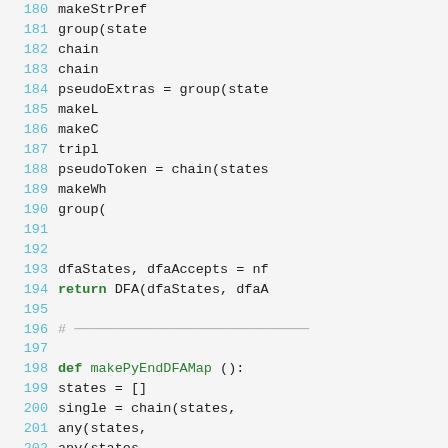[Figure (screenshot): Source code listing showing Python code with line numbers 180-209. Lines show function definitions and code including makePyEndDFAMap, chain, group, DFA, nfa calls, and variable assignments. Line numbers in cyan/teal, keywords in dark green, code in dark gray.]